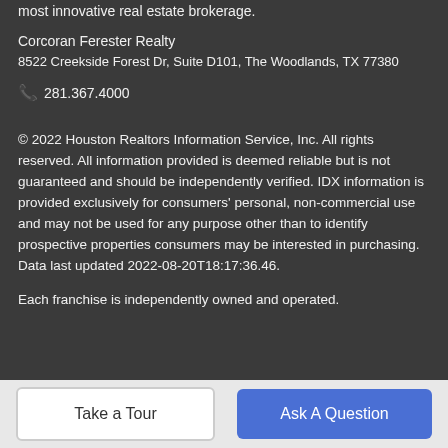most innovative real estate brokerage.
Corcoran Ferester Realty
8522 Creekside Forest Dr, Suite D101, The Woodlands, TX 77380
☎ 281.367.4000
© 2022 Houston Realtors Information Service, Inc. All rights reserved. All information provided is deemed reliable but is not guaranteed and should be independently verified. IDX information is provided exclusively for consumers' personal, non-commercial use and may not be used for any purpose other than to identify prospective properties consumers may be interested in purchasing. Data last updated 2022-08-20T18:17:36.46.
Each franchise is independently owned and operated.